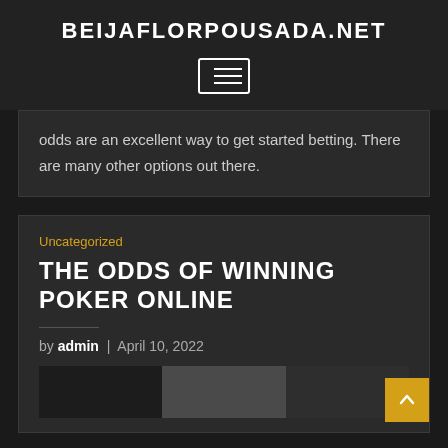BEIJAFLORPOUSADA.NET
[Figure (other): Hamburger menu icon button with three horizontal lines inside a bordered rectangle]
odds are an excellent way to get started betting. There are many other options out there.
Uncategorized
THE ODDS OF WINNING POKER ONLINE
by admin | April 10, 2022
[Figure (photo): Partial photo strip showing people at what appears to be a poker table]